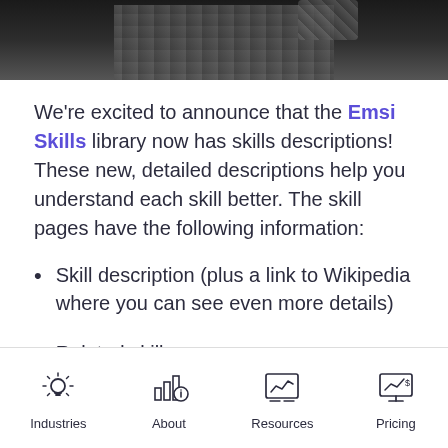[Figure (photo): Cropped photo of a person wearing a plaid shirt against a dark background, shown from the torso area only]
We're excited to announce that the Emsi Skills library now has skills descriptions! These new, detailed descriptions help you understand each skill better. The skill pages have the following information:
Skill description (plus a link to Wikipedia where you can see even more details)
Related skills
Industries | About | Resources | Pricing